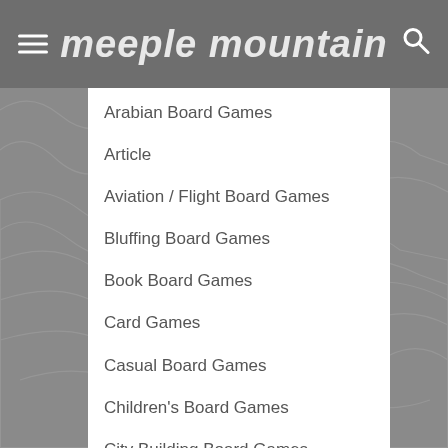meeple mountain
Arabian Board Games
Article
Aviation / Flight Board Games
Bluffing Board Games
Book Board Games
Card Games
Casual Board Games
Children's Board Games
City Building Board Games
Civil War Board Games
Civilization Board Games
Collectible Components
Comic Book / Strip
Deduction Board Games